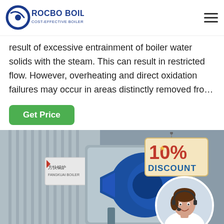ROCBO BOILER - COST-EFFECTIVE BOILER SUPPLIER
result of excessive entrainment of boiler water solids with the steam. This can result in restricted flow. However, overheating and direct oxidation failures may occur in areas distinctly removed fro…
Get Price
[Figure (photo): Industrial boiler equipment with a blue burner/motor assembly and corrugated metal casing, with a Chinese company sign. Overlaid with a 10% DISCOUNT badge and a circular inset of a female customer service representative wearing a headset.]